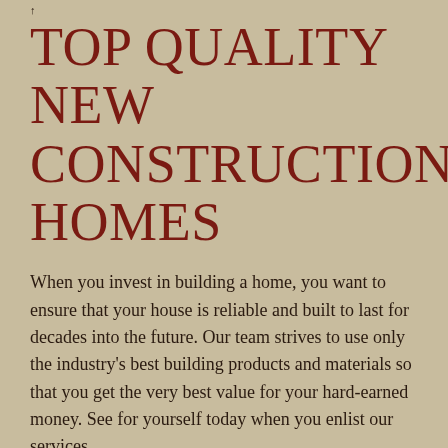↑
TOP QUALITY NEW CONSTRUCTION HOMES
When you invest in building a home, you want to ensure that your house is reliable and built to last for decades into the future. Our team strives to use only the industry's best building products and materials so that you get the very best value for your hard-earned money. See for yourself today when you enlist our services.
CONTACT OUR CUSTOM HOME BUILDERS